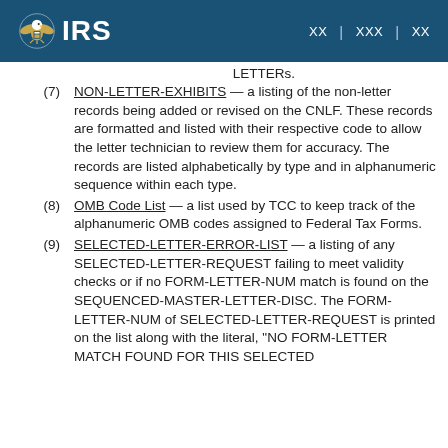IRS
LETTERs.
(7) NON-LETTER-EXHIBITS — a listing of the non-letter records being added or revised on the CNLF. These records are formatted and listed with their respective code to allow the letter technician to review them for accuracy. The records are listed alphabetically by type and in alphanumeric sequence within each type.
(8) OMB Code List — a list used by TCC to keep track of the alphanumeric OMB codes assigned to Federal Tax Forms.
(9) SELECTED-LETTER-ERROR-LIST — a listing of any SELECTED-LETTER-REQUEST failing to meet validity checks or if no FORM-LETTER-NUM match is found on the SEQUENCED-MASTER-LETTER-DISC. The FORM-LETTER-NUM of SELECTED-LETTER-REQUEST is printed on the list along with the literal, "NO FORM-LETTER MATCH FOUND FOR THIS SELECTED REQUEST".